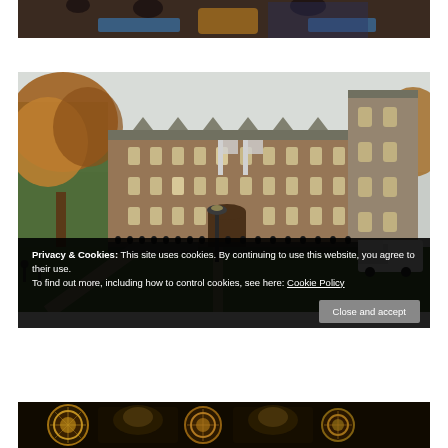[Figure (photo): Partial photo at top of page showing people, partially cropped, with dark/brown tones and blue overlay elements]
[Figure (photo): Photo of a large Gothic-style university building (Georgetown University's Healy Hall) with autumn trees, green lawn, a lamp post, a line of people standing in front of the building, and a white van on the right side]
Privacy & Cookies: This site uses cookies. By continuing to use this website, you agree to their use. To find out more, including how to control cookies, see here: Cookie Policy
Close and accept
[Figure (photo): Partial photo at bottom of page showing ornate circular/medallion elements with golden and dark tones, partially cropped]